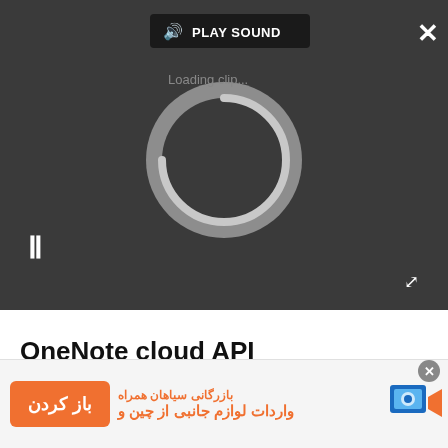[Figure (screenshot): Dark video player UI showing a loading spinner in the center, a pause button (II) at lower left, a PLAY SOUND button with speaker icon at top center, a close (×) button at top right, and an expand/fullscreen button at bottom right.]
OneNote cloud API
[Figure (screenshot): Orange advertisement banner at bottom of page with a 'باز کردن' (Open) button on the left, Persian text 'بازرگانی سیاهان همراه' and 'واردات لوازم جانبی از چین و...' on the right, and a logo icon on the far right.]